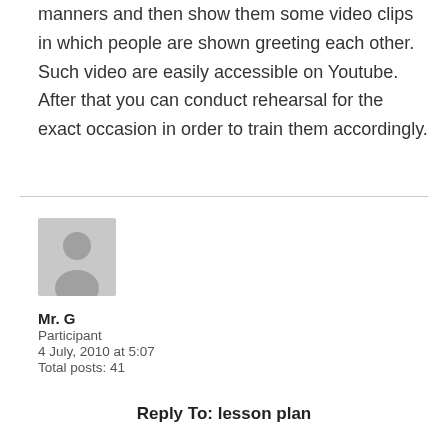manners and then show them some video clips in which people are shown greeting each other. Such video are easily accessible on Youtube. After that you can conduct rehearsal for the exact occasion in order to train them accordingly.
[Figure (other): Generic user avatar placeholder image, grey silhouette of a person on light grey background]
Mr. G
Participant
4 July, 2010 at 5:07
Total posts: 41
Reply To: lesson plan